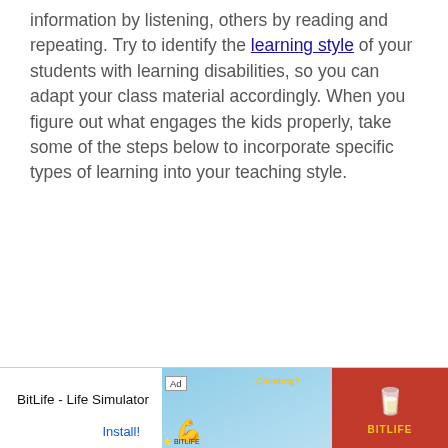information by listening, others by reading and repeating. Try to identify the learning style of your students with learning disabilities, so you can adapt your class material accordingly. When you figure out what engages the kids properly, take some of the steps below to incorporate specific types of learning into your teaching style.
[Figure (other): Advertisement banner for BitLife - Life Simulator app. Shows 'Ad' badge, two graphic panels (one with cartoon arm/muscle on blue background with 'Cheating?' text, one with sperm icon on red background with BitLife logo), and text 'BitLife - Life Simulator' with 'Install!' button.]